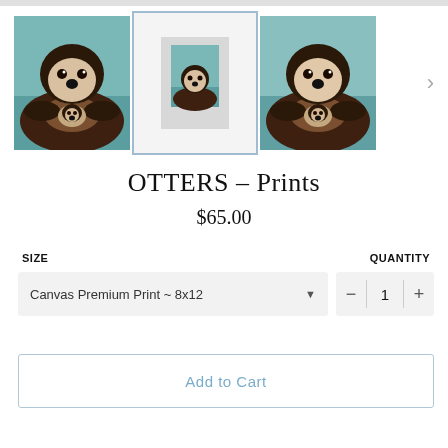[Figure (photo): Product gallery showing three images of an otter painting. Left: close-up painting of a sea otter floating on water. Middle (selected, highlighted with blue border): smaller version of the same painting shown as a canvas product mockup on a white background. Right: another close-up of the same otter painting. A right arrow chevron is visible for navigation.]
OTTERS – Prints
$65.00
SIZE
QUANTITY
Canvas Premium Print ~ 8x12
1
Add to Cart